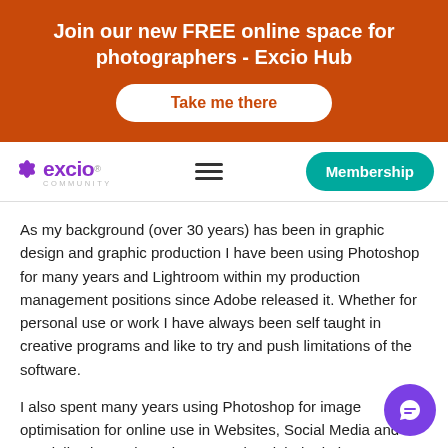Join our new FREE online space for photographers - Excio Hub
Take me there
[Figure (logo): Excio Community logo with purple star/flower icon and text 'excio' in purple with registered trademark symbol, and 'COMMUNITY' text below]
Membership
As my background (over 30 years) has been in graphic design and graphic production I have been using Photoshop for many years and Lightroom within my production management positions since Adobe released it. Whether for personal use or work I have always been self taught in creative programs and like to try and push limitations of the software.
I also spent many years using Photoshop for image optimisation for online use in Websites, Social Media and specialise in 4 colour plus spot colour label printing.